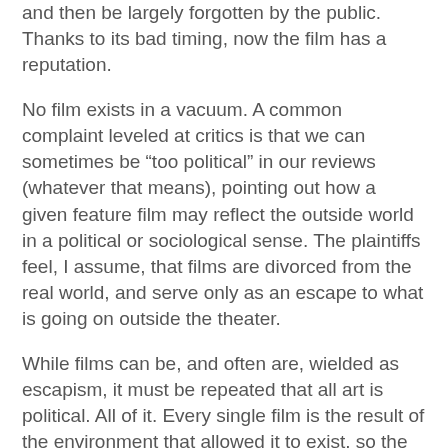and then be largely forgotten by the public. Thanks to its bad timing, now the film has a reputation.
No film exists in a vacuum. A common complaint leveled at critics is that we can sometimes be “too political” in our reviews (whatever that means), pointing out how a given feature film may reflect the outside world in a political or sociological sense. The plaintiffs feel, I assume, that films are divorced from the real world, and serve only as an escape to what is going on outside the theater.
While films can be, and often are, wielded as escapism, it must be repeated that all art is political. All of it. Every single film is the result of the environment that allowed it to exist, so the underlying function cinema is to reflect and comment on the current state of the world.
It’s when that comment reaches theaters at an